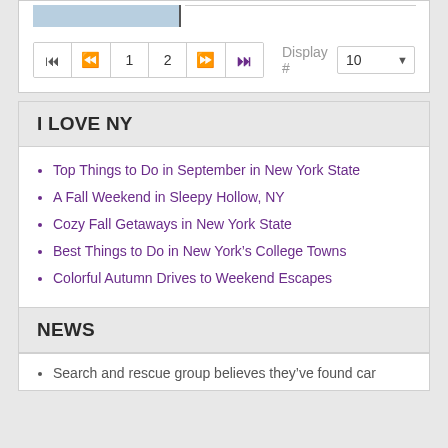[Figure (screenshot): Top portion of a web page showing a partially visible image/content bar and pagination controls with page numbers 1 and 2, and a Display # selector set to 10]
I LOVE NY
Top Things to Do in September in New York State
A Fall Weekend in Sleepy Hollow, NY
Cozy Fall Getaways in New York State
Best Things to Do in New York's College Towns
Colorful Autumn Drives to Weekend Escapes
NEWS
Search and rescue group believes they've found car